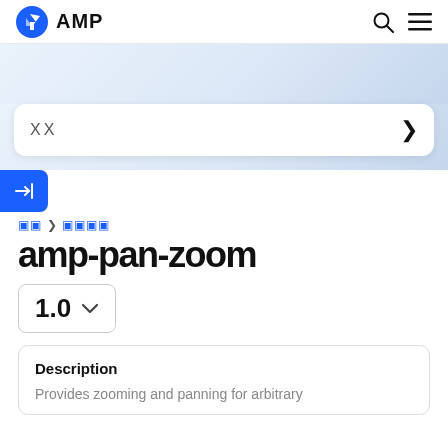AMP
🔲🔲
→|
文字 > 文字文字
amp-pan-zoom
1.0
Description
Provides zooming and panning for arbitrary